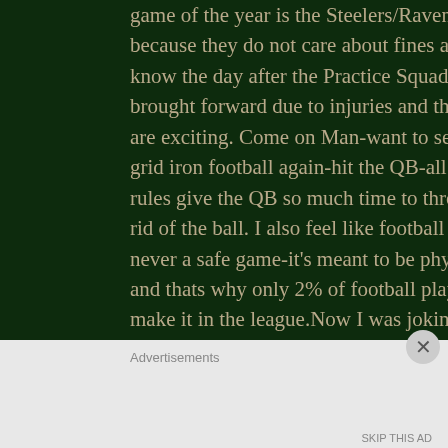game of the year is the Steelers/Ravens because they do not care about fines and know the day after the Practice Squads g brought forward due to injuries and the are exciting. Come on Man-want to see grid iron football again-hit the QB-all the rules give the QB so much time to throw rid of the ball. I also feel like football wa never a safe game-it's meant to be phys and thats why only 2% of football player make it in the league.Now I was joking t Kenny Phillips had set aside $20k for a f the Superbowl this year-sadly he behave
Advertisements